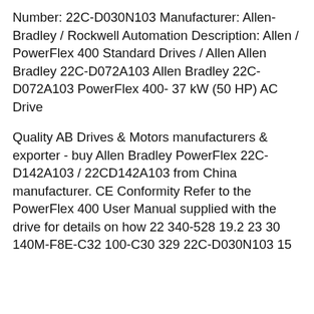Number: 22C-D030N103 Manufacturer: Allen-Bradley / Rockwell Automation Description: Allen / PowerFlex 400 Standard Drives / Allen Allen Bradley 22C-D072A103 Allen Bradley 22C-D072A103 PowerFlex 400- 37 kW (50 HP) AC Drive
Quality AB Drives & Motors manufacturers & exporter - buy Allen Bradley PowerFlex 22C-D142A103 / 22CD142A103 from China manufacturer. CE Conformity Refer to the PowerFlex 400 User Manual supplied with the drive for details on how 22 340-528 19.2 23 30 140M-F8E-C32 100-C30 329 22C-D030N103 15